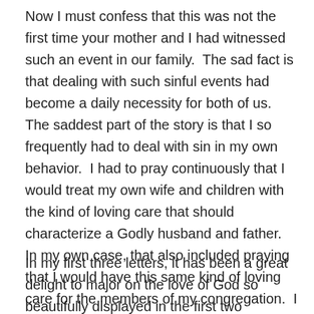Now I must confess that this was not the first time your mother and I had witnessed such an event in our family.  The sad fact is that dealing with such sinful events had become a daily necessity for both of us.  The saddest part of the story is that I so frequently had to deal with sin in my own behavior.  I had to pray continuously that I would treat my own wife and children with the kind of loving care that should characterize a Godly husband and father.  In my own case, that also included praying that I would have this same kind of loving care for the members of my congregation.  I had a pastoral obligation to show genuine Christ-like love both in my preaching and in all my relationships to those participating in the life of our church.
In my first three letters, it has been a great delight to major on the love of God so beautifully displayed in the first two chapters of Genesis.  To be created in the “image of God”